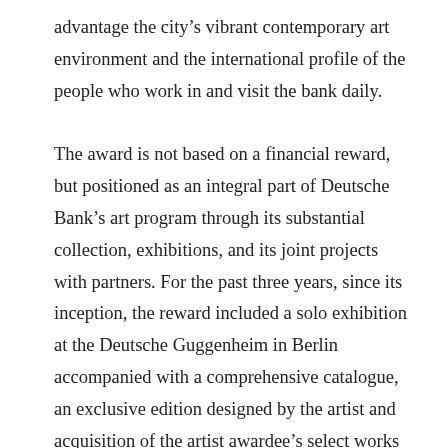advantage the city's vibrant contemporary art environment and the international profile of the people who work in and visit the bank daily.

The award is not based on a financial reward, but positioned as an integral part of Deutsche Bank's art program through its substantial collection, exhibitions, and its joint projects with partners. For the past three years, since its inception, the reward included a solo exhibition at the Deutsche Guggenheim in Berlin accompanied with a comprehensive catalogue, an exclusive edition designed by the artist and acquisition of the artist awardee's select works on paper for the Deutsche Bank Collection. This year, the announcement coincided with another important disclosure by the Bank. On Monday, November 12th, 2012, the Deutsche Bank announced the space which currently